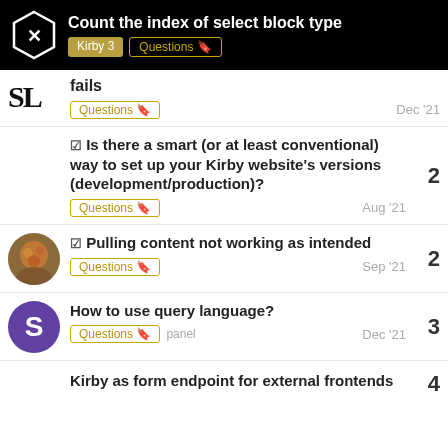Count the index of select block type — Kirby 3, Questions
fails — Questions — Dec '21
☑ Is there a smart (or at least conventional) way to set up your Kirby website's versions (development/production)? — Questions — Aug '21 — 2
☑ Pulling content not working as intended — Questions — Sep '21 — 2
How to use query language? — Questions, panel — Dec '21 — 3
Kirby as form endpoint for external frontends — 4